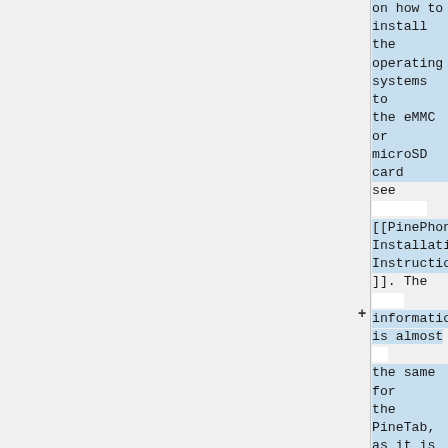on how to install the operating systems to the eMMC or microSD card see [[PinePhone Installation Instructions]]. The information is almost the same for the PineTab, as it is a very similar device. Do not try to use the PinePhone images